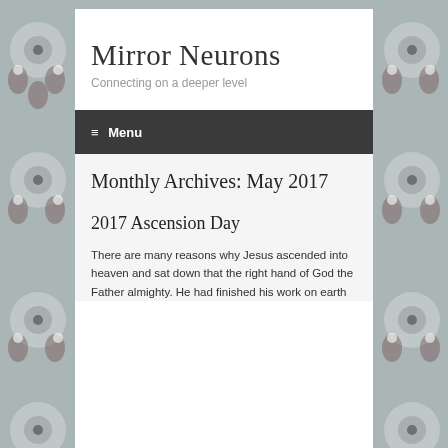Mirror Neurons
Connecting on a deeper level
≡ Menu
Monthly Archives: May 2017
2017 Ascension Day
There are many reasons why Jesus ascended into heaven and sat down that the right hand of God the Father almighty. He had finished his work on earth